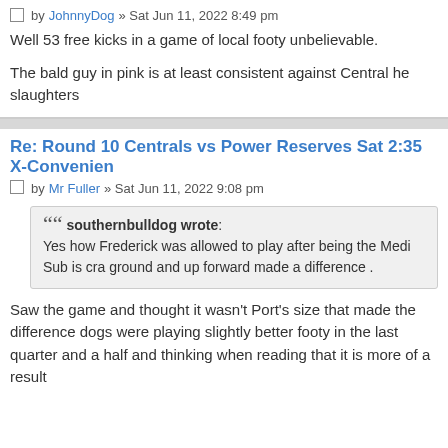by JohnnyDog » Sat Jun 11, 2022 8:49 pm
Well 53 free kicks in a game of local footy unbelievable.
The bald guy in pink is at least consistent against Central he slaughters
Re: Round 10 Centrals vs Power Reserves Sat 2:35 X-Convenien
by Mr Fuller » Sat Jun 11, 2022 9:08 pm
southernbulldog wrote: Yes how Frederick was allowed to play after being the Medi Sub is cra ground and up forward made a difference .
Saw the game and thought it wasn't Port's size that made the difference dogs were playing slightly better footy in the last quarter and a half and thinking when reading that it is more of a result